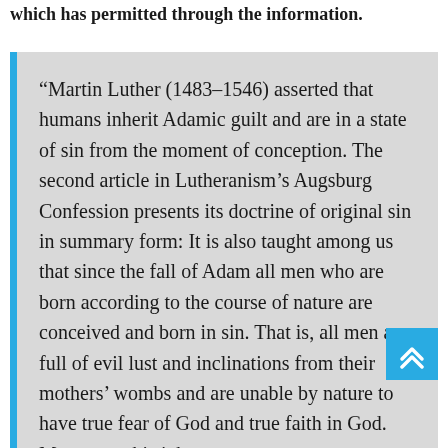which has permitted through the information.
“Martin Luther (1483–1546) asserted that humans inherit Adamic guilt and are in a state of sin from the moment of conception. The second article in Lutheranism’s Augsburg Confession presents its doctrine of original sin in summary form: It is also taught among us that since the fall of Adam all men who are born according to the course of nature are conceived and born in sin. That is, all men are full of evil lust and inclinations from their mothers’ wombs and are unable by nature to have true fear of God and true faith in God. Moreover, this inborn